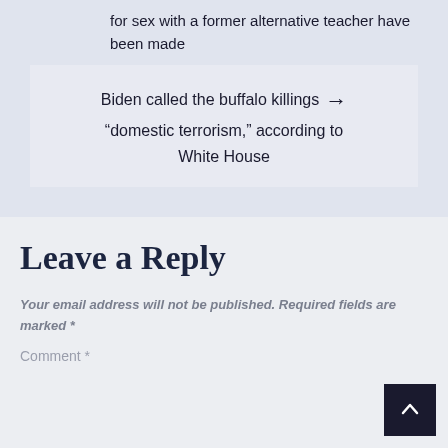for sex with a former alternative teacher have been made
Biden called the buffalo killings “domestic terrorism,” according to White House →
Leave a Reply
Your email address will not be published. Required fields are marked *
Comment *